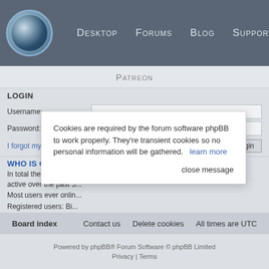Desktop  Forums  Blog  Support
Patreon
LOGIN
Username:
Password:
I forgot my password   Remember me  Login
WHO IS ONLINE
In total there are 47 u... sts (based on users active over the past 5... Most users ever onlin...
Registered users: Bi...
Legend: Administrators, Global moderators, Registered users
STATISTICS
Total posts 36820 • Total topics 1585 • Total members 1075 • Our newest member Hekatontach
[Figure (screenshot): Cookie consent modal dialog overlaying the page. Text reads: 'Cookies are required by the forum software phpBB to work properly. They're transient cookies so no personal information will be gathered. learn more' with a 'close message' link.]
Board index   Contact us   Delete cookies   All times are UTC
Powered by phpBB® Forum Software © phpBB Limited  Privacy | Terms